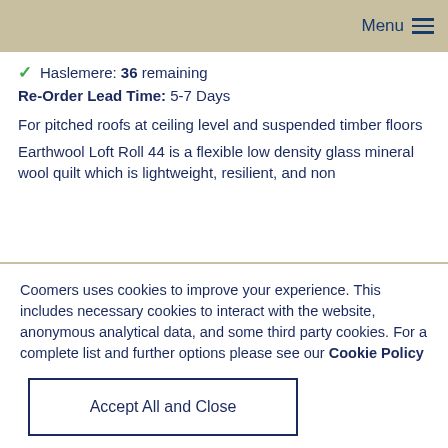Menu
✓ Haslemere: 36 remaining
Re-Order Lead Time: 5-7 Days
For pitched roofs at ceiling level and suspended timber floors
Earthwool Loft Roll 44 is a flexible low density glass mineral wool quilt which is lightweight, resilient, and non
Coomers uses cookies to improve your experience. This includes necessary cookies to interact with the website, anonymous analytical data, and some third party cookies. For a complete list and further options please see our Cookie Policy
Accept All and Close